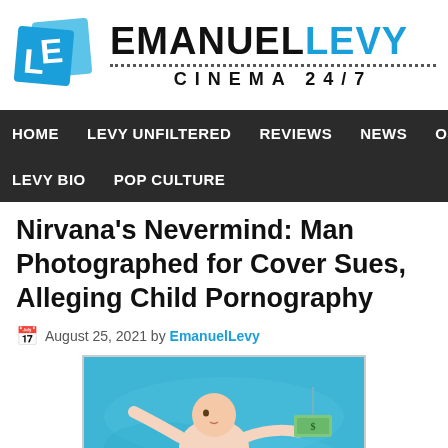[Figure (logo): Emanuel Levy Cinema 24/7 logo with two blue overlapping E and L letter squares on left, and bold text EMANUEL LEVY with dotted line and CINEMA 24/7 subtitle]
HOME   LEVY UNFILTERED   REVIEWS   NEWS   OSCA
LEVY BIO   POP CULTURE
Nirvana's Nevermind: Man Photographed for Cover Sues, Alleging Child Pornography
August 25, 2021 by EmanuelLevy
[Figure (photo): Nirvana Nevermind album cover showing a baby swimming underwater in a pool toward a dollar bill on a fishhook, pool water is blue.]